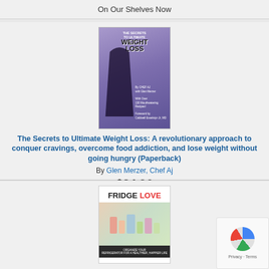On Our Shelves Now
[Figure (photo): Book cover: The Secrets to Ultimate Weight Loss by Chef AJ and Glen Merzer]
The Secrets to Ultimate Weight Loss: A revolutionary approach to conquer cravings, overcome food addiction, and lose weight without going hungry (Paperback)
By Glen Merzer, Chef Aj
$24.96
Add to Wish List
Add to Cart
Ships from wholesaler in 7-10 days
[Figure (photo): Book cover: Fridge Love]